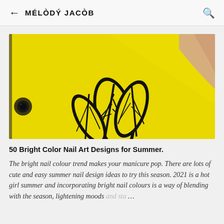← MÉLÒDÝ JACÒB 🔍
[Figure (photo): Close-up photo of a bright yellow phone case or surface with a black tropical leaf/palm print design, with a finger visible in the upper right corner.]
50 Bright Color Nail Art Designs for Summer.
The bright nail colour trend makes your manicure pop. There are lots of cute and easy summer nail design ideas to try this season. 2021 is a hot girl summer and incorporating bright nail colours is a way of blending with the season, lightening moods and sta… …